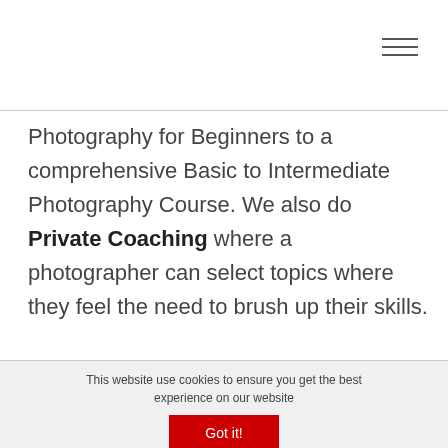[Figure (other): Hamburger menu icon (three horizontal lines) in top right corner]
Photography for Beginners to a comprehensive Basic to Intermediate Photography Course. We also do Private Coaching where a photographer can select topics where they feel the need to brush up their skills.
This website use cookies to ensure you get the best experience on our website
Got it!